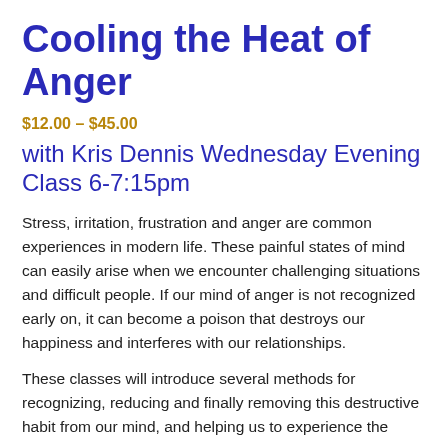Cooling the Heat of Anger
$12.00 – $45.00
with Kris Dennis Wednesday Evening Class 6-7:15pm
Stress, irritation, frustration and anger are common experiences in modern life. These painful states of mind can easily arise when we encounter challenging situations and difficult people. If our mind of anger is not recognized early on, it can become a poison that destroys our happiness and interferes with our relationships.
These classes will introduce several methods for recognizing, reducing and finally removing this destructive habit from our mind, and helping us to experience the